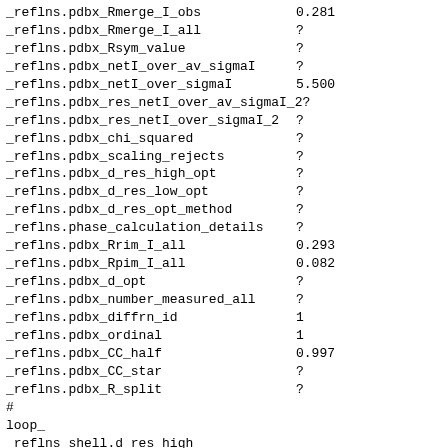_reflns.pdbx_Rmerge_I_obs     0.281
_reflns.pdbx_Rmerge_I_all     ?
_reflns.pdbx_Rsym_value       ?
_reflns.pdbx_netI_over_av_sigmaI  ?
_reflns.pdbx_netI_over_sigmaI     5.500
_reflns.pdbx_res_netI_over_av_sigmaI_2  ?
_reflns.pdbx_res_netI_over_sigmaI_2  ?
_reflns.pdbx_chi_squared      ?
_reflns.pdbx_scaling_rejects  ?
_reflns.pdbx_d_res_high_opt   ?
_reflns.pdbx_d_res_low_opt    ?
_reflns.pdbx_d_res_opt_method ?
_reflns.phase_calculation_details  ?
_reflns.pdbx_Rrim_I_all       0.293
_reflns.pdbx_Rpim_I_all       0.082
_reflns.pdbx_d_opt            ?
_reflns.pdbx_number_measured_all  ?
_reflns.pdbx_diffrn_id        1
_reflns.pdbx_ordinal          1
_reflns.pdbx_CC_half          0.997
_reflns.pdbx_CC_star          ?
_reflns.pdbx_R_split          ?
#
loop_
_reflns_shell.d_res_high
_reflns_shell.d_res_low
_reflns_shell.meanI_over_sigI_all
_reflns_shell.meanI_over_sigI_obs
_reflns_shell.number_measured_all
_reflns_shell.number_measured_obs
_reflns_shell.number_possible